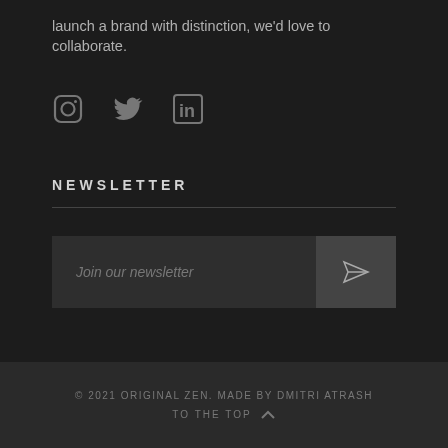launch a brand with distinction, we'd love to collaborate.
[Figure (illustration): Three social media icons: Instagram (camera icon), Twitter (bird icon), LinkedIn (in logo)]
NEWSLETTER
Join our newsletter
© 2021 ORIGINAL ZEN. MADE BY DMITRI ATRASH
TO THE TOP ^